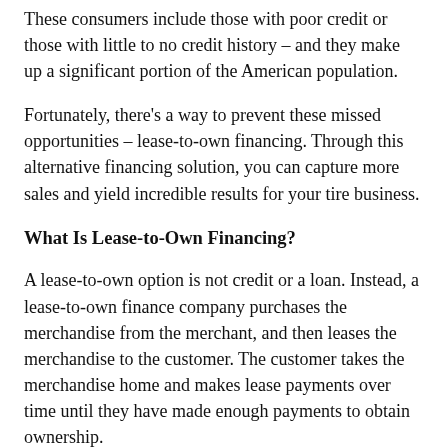These consumers include those with poor credit or those with little to no credit history – and they make up a significant portion of the American population.
Fortunately, there's a way to prevent these missed opportunities – lease-to-own financing. Through this alternative financing solution, you can capture more sales and yield incredible results for your tire business.
What Is Lease-to-Own Financing?
A lease-to-own option is not credit or a loan. Instead, a lease-to-own finance company purchases the merchandise from the merchant, and then leases the merchandise to the customer. The customer takes the merchandise home and makes lease payments over time until they have made enough payments to obtain ownership.